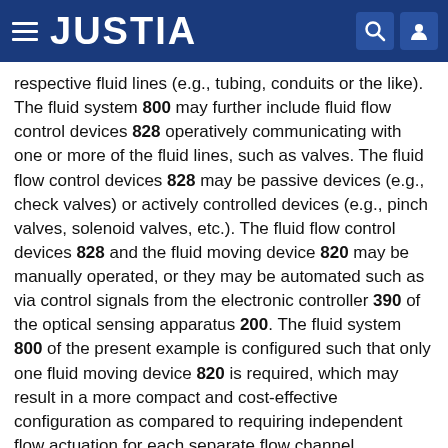JUSTIA
respective fluid lines (e.g., tubing, conduits or the like). The fluid system 800 may further include fluid flow control devices 828 operatively communicating with one or more of the fluid lines, such as valves. The fluid flow control devices 828 may be passive devices (e.g., check valves) or actively controlled devices (e.g., pinch valves, solenoid valves, etc.). The fluid flow control devices 828 and the fluid moving device 820 may be manually operated, or they may be automated such as via control signals from the electronic controller 390 of the optical sensing apparatus 200. The fluid system 800 of the present example is configured such that only one fluid moving device 820 is required, which may result in a more compact and cost-effective configuration as compared to requiring independent flow actuation for each separate flow channel.